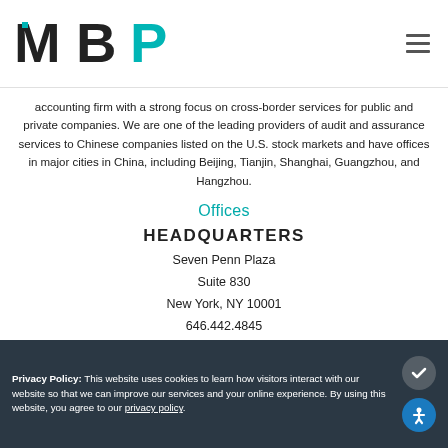MBP
accounting firm with a strong focus on cross-border services for public and private companies. We are one of the leading providers of audit and assurance services to Chinese companies listed on the U.S. stock markets and have offices in major cities in China, including Beijing, Tianjin, Shanghai, Guangzhou, and Hangzhou.
Offices
HEADQUARTERS
Seven Penn Plaza
Suite 830
New York, NY 10001
646.442.4845
info@marcumbp.com
FIND AN OFFICE →
Privacy Policy: This website uses cookies to learn how visitors interact with our website so that we can improve our services and your online experience. By using this website, you agree to our privacy policy.